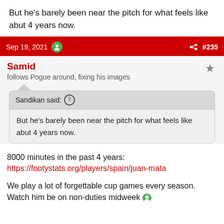But he's barely been near the pitch for what feels like abut 4 years now.
Sep 19, 2021   #235
Samid
follows Pogue around, fixing his images
Sandikan said: ↑
But he's barely been near the pitch for what feels like abut 4 years now.
8000 minutes in the past 4 years:
https://footystats.org/players/spain/juan-mata
We play a lot of forgettable cup games every season. Watch him be on non-duties midweek